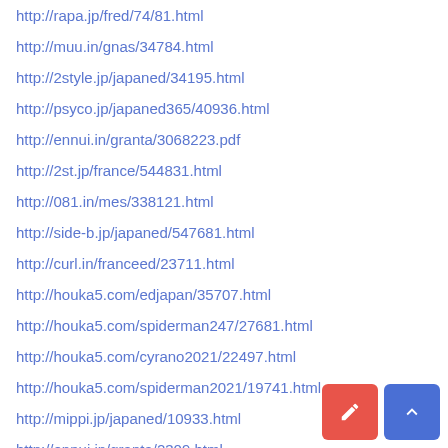http://rapa.jp/fred/74/81.html
http://muu.in/gnas/34784.html
http://2style.jp/japaned/34195.html
http://psyco.jp/japaned365/40936.html
http://ennui.in/granta/3068223.pdf
http://2st.jp/france/544831.html
http://081.in/mes/338121.html
http://side-b.jp/japaned/547681.html
http://curl.in/franceed/23711.html
http://houka5.com/edjapan/35707.html
http://houka5.com/spiderman247/27681.html
http://houka5.com/cyrano2021/22497.html
http://houka5.com/spiderman2021/19741.html
http://mippi.jp/japaned/10933.html
http://ennui.in/granta/2309.html